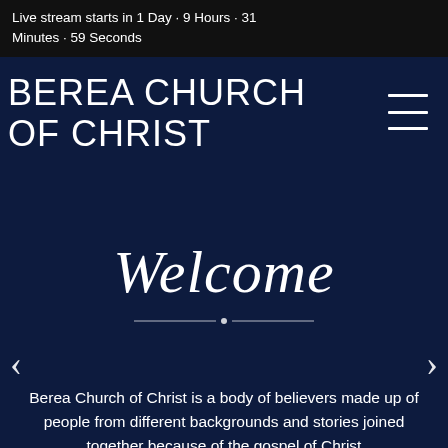Live stream starts in 1 Day · 9 Hours · 31 Minutes · 59 Seconds
BEREA CHURCH OF CHRIST
Welcome
Berea Church of Christ is a body of believers made up of people from different backgrounds and stories joined together because of the gospel of Christ